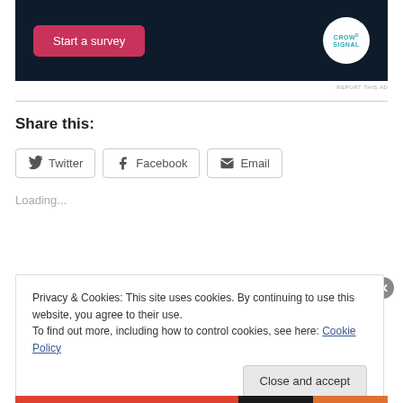[Figure (screenshot): Ad banner for Crowdsignal with pink 'Start a survey' button and circular Crowdsignal logo on dark navy background]
REPORT THIS AD
Share this:
Twitter  Facebook  Email
Loading...
Privacy & Cookies: This site uses cookies. By continuing to use this website, you agree to their use.
To find out more, including how to control cookies, see here: Cookie Policy
Close and accept